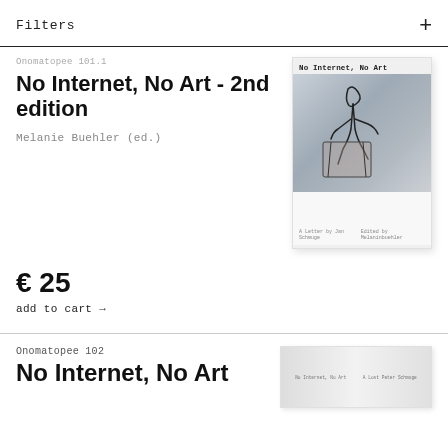Filters +
Onomatopee 101.1
No Internet, No Art - 2nd edition
Melanie Buehler (ed.)
[Figure (photo): Book cover of 'No Internet, No Art' 2nd edition, white cover with abstract line drawing of a figure on a grey photographic background]
€ 25
add to cart →
Onomatopee 102
No Internet, No Art